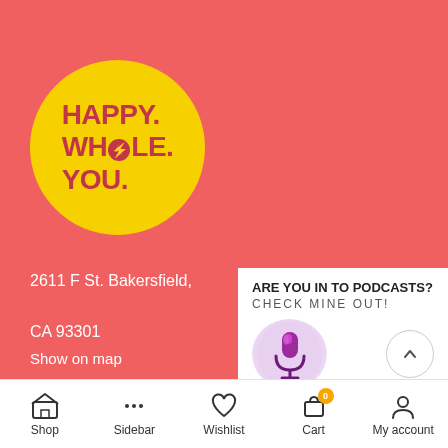[Figure (logo): Happy. Whole. You. logo — yellow circle with dark red bold text on salmon/coral red background]
2611 F St. Bakersfield,

CA 93301
Show on map
Need help
[Figure (screenshot): Popup widget: ARE YOU IN TO PODCASTS? CHECK MINE OUT! with microphone illustration and chevron up button]
Shop | Sidebar | Wishlist | Cart | My account